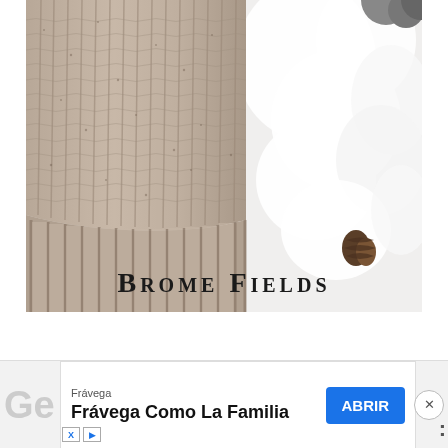[Figure (photo): Close-up photo of a chunky knit beanie hat in heathered oatmeal/beige color with ribbed cuff, displayed against white faux fur background with pine cones. Text 'BROME FIELDS' overlaid at the bottom of the image.]
[Figure (screenshot): Advertisement banner for Frávega. Shows partial 'Ge' text on left, ad content box with 'Frávega' small text and 'Frávega Como La Familia' bold text, blue 'ABRIR' button, close X button, and ad attribution icons at bottom left.]